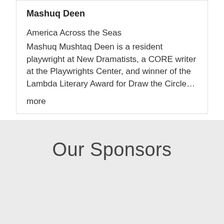Mashuq Deen
America Across the Seas
Mashuq Mushtaq Deen is a resident playwright at New Dramatists, a CORE writer at the Playwrights Center, and winner of the Lambda Literary Award for Draw the Circle… more